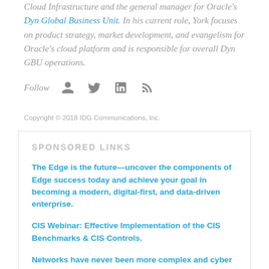Cloud Infrastructure and the general manager for Oracle's Dyn Global Business Unit. In his current role, York focuses on product strategy, market development, and evangelism for Oracle's cloud platform and is responsible for overall Dyn GBU operations.
Follow [social icons]
Copyright © 2018 IDG Communications, Inc.
SPONSORED LINKS
The Edge is the future—uncover the components of Edge success today and achieve your goal in becoming a modern, digital-first, and data-driven enterprise.
CIS Webinar: Effective Implementation of the CIS Benchmarks & CIS Controls.
Networks have never been more complex and cyber